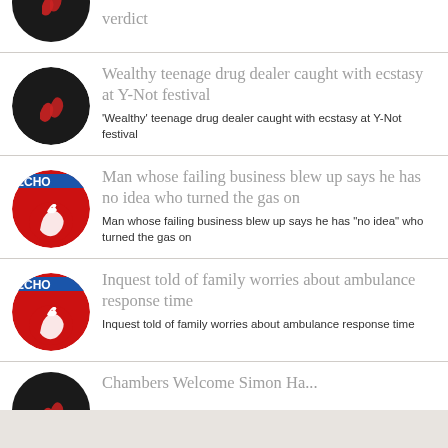verdict
Wealthy teenage drug dealer caught with ecstasy at Y-Not festival
'Wealthy' teenage drug dealer caught with ecstasy at Y-Not festival
Man whose failing business blew up says he has no idea who turned the gas on
Man whose failing business blew up says he has "no idea" who turned the gas on
Inquest told of family worries about ambulance response time
Inquest told of family worries about ambulance response time
Chambers Welcome Simon Ha...